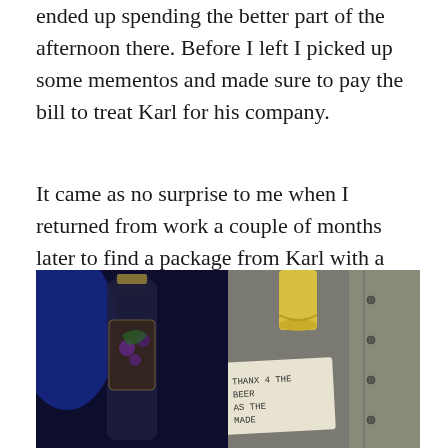ended up spending the better part of the afternoon there. Before I left I picked up some mementos and made sure to pay the bill to treat Karl for his company.
It came as no surprise to me when I returned from work a couple of months later to find a package from Karl with a special gift. Saskatoon berry wine, straight from the Cariboo! That's the Cariboo kindness I knew!
[Figure (photo): Two side-by-side photos: left shows a wine bottle with a decorative label featuring purple saskatoon berries against a dark background with blue lighting; right shows the top of a wine bottle with a gold foil cap next to a handwritten note reading 'THANX 4 THE BEER / AS THE MADE' on a light background with a grey upholstered couch visible.]